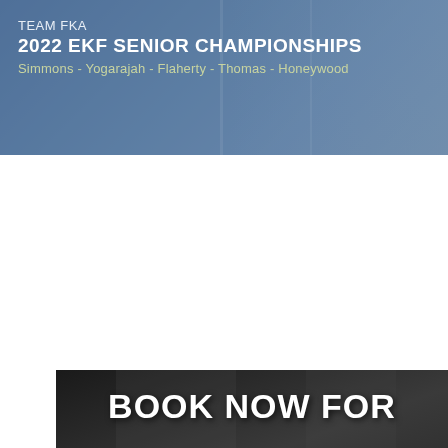[Figure (infographic): Top banner with blue-grey background showing runners in the background, with text: TEAM FKA, 2022 EKF SENIOR CHAMPIONSHIPS, Simmons - Yogarajah - Flaherty - Thomas - Honeywood]
[Figure (infographic): Bottom promotional banner with dark background showing runners, text: BOOK NOW FOR 2022 SQUAD TRAINING]